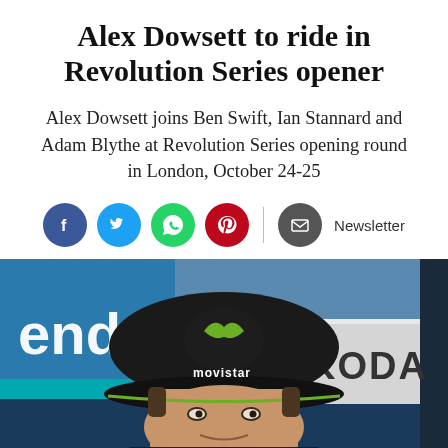Alex Dowsett to ride in Revolution Series opener
Alex Dowsett joins Ben Swift, Ian Stannard and Adam Blythe at Revolution Series opening round in London, October 24-25
[Figure (other): Social media sharing icons: Facebook, Twitter, WhatsApp, Pinterest, and Email/Newsletter buttons]
[Figure (photo): Photo of Alex Dowsett wearing a dark Movistar cycling cap, smiling, with sponsor banners including 'ends', 'movistar', 'KODA' visible in the background]